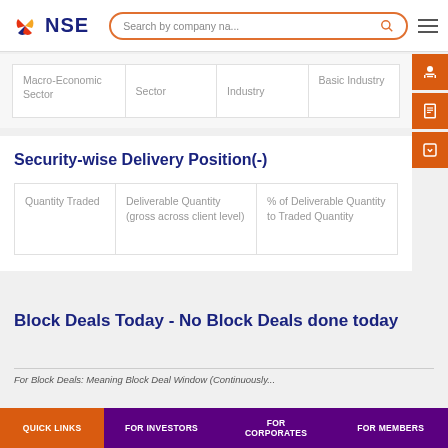NSE - Search by company na...
| Macro-Economic Sector | Sector | Industry | Basic Industry |
| --- | --- | --- | --- |
|  |
Security-wise Delivery Position(-)
| Quantity Traded | Deliverable Quantity (gross across client level) | % of Deliverable Quantity to Traded Quantity |
| --- | --- | --- |
|  |
Block Deals Today - No Block Deals done today
For Block Deals: Meaning Block Deal Window (Continuously...
QUICK LINKS | FOR INVESTORS | FOR CORPORATES | FOR MEMBERS